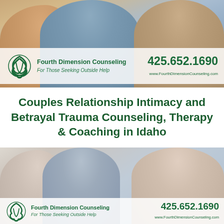[Figure (photo): Two women embracing/hugging, counseling context, warm tones]
[Figure (logo): Fourth Dimension Counseling triquetra logo (green Celtic knot triangle)]
Fourth Dimension Counseling
For Those Seeking Outside Help
425.652.1690
www.FourthDimensionCounseling.com
Couples Relationship Intimacy and Betrayal Trauma Counseling, Therapy & Coaching in Idaho
[Figure (photo): Older female therapist talking with a couple (young man and woman) at a table in a counseling session]
[Figure (logo): Fourth Dimension Counseling triquetra logo (green Celtic knot triangle)]
Fourth Dimension Counseling
For Those Seeking Outside Help
425.652.1690
www.FourthDimensionCounseling.com